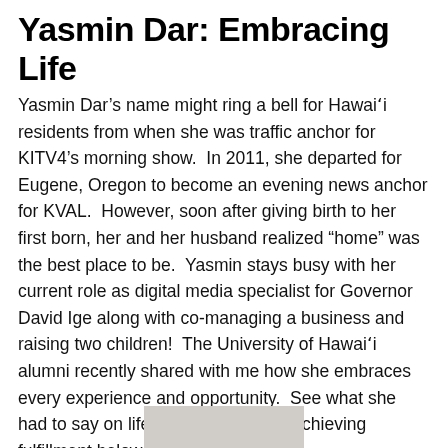Yasmin Dar: Embracing Life
Yasmin Dar’s name might ring a bell for Hawaiʻi residents from when she was traffic anchor for KITV4’s morning show.  In 2011, she departed for Eugene, Oregon to become an evening news anchor for KVAL.  However, soon after giving birth to her first born, her and her husband realized “home” was the best place to be.  Yasmin stays busy with her current role as digital media specialist for Governor David Ige along with co-managing a business and raising two children!  The University of Hawaiʻi alumni recently shared with me how she embraces every experience and opportunity.  See what she had to say on life, parenthood, and achieving fulfillment below…
[Figure (photo): Partial photo of Yasmin Dar visible at bottom of page]